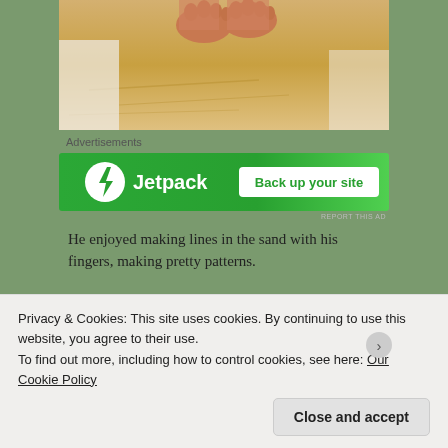[Figure (photo): Baby feet and lower legs resting on sand, with sand texture patterns visible]
Advertisements
[Figure (other): Jetpack advertisement banner: green background with Jetpack logo (white circle with lightning bolt) and text 'Jetpack' and button 'Back up your site']
He enjoyed making lines in the sand with his fingers, making pretty patterns.
[Figure (photo): Partial view of a second photo showing dark and blue tones]
Privacy & Cookies: This site uses cookies. By continuing to use this website, you agree to their use.
To find out more, including how to control cookies, see here: Our Cookie Policy